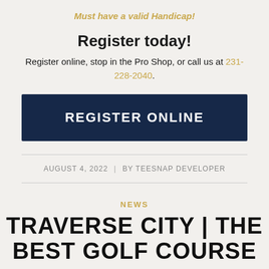Must have a valid Handicap!
Register today!
Register online, stop in the Pro Shop, or call us at 231-228-2040.
REGISTER ONLINE
AUGUST 4, 2022 | BY TEESNAP DEVELOPER
NEWS
TRAVERSE CITY | THE BEST GOLF COURSE